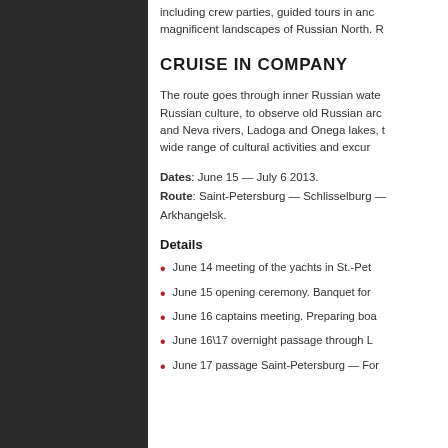including crew parties, guided tours in ancient Russian cities, and cruising through magnificent landscapes of Russian North. R…
CRUISE IN COMPANY
The route goes through inner Russian waters and gives a unique chance to experience Russian culture, to observe old Russian architecture. The cruise goes along Volga and Neva rivers, Ladoga and Onega lakes, the White Sea Canal. The program includes a wide range of cultural activities and excursions.
Dates: June 15 — July 6 2013.
Route: Saint-Petersburg — Schlisselburg — … Arkhangelsk.
Details
June 14 meeting of the yachts in St.-Pet…
June 15 opening ceremony. Banquet for…
June 16 captains meeting. Preparing boa…
June 16\17 overnight passage through L…
June 17 passage Saint-Petersburg — For…